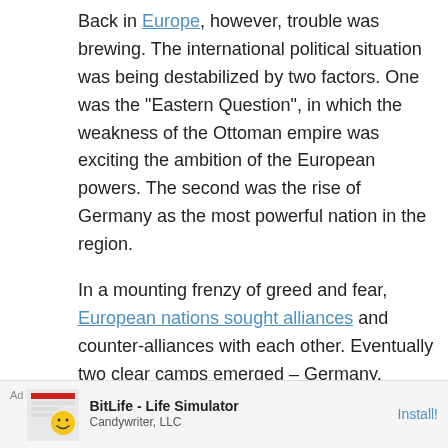Back in Europe, however, trouble was brewing. The international political situation was being destabilized by two factors. One was the "Eastern Question", in which the weakness of the Ottoman empire was exciting the ambition of the European powers. The second was the rise of Germany as the most powerful nation in the region.
In a mounting frenzy of greed and fear, European nations sought alliances and counter-alliances with each other. Eventually two clear camps emerged – Germany, Austro-Hungary and Italy on one side, Britain, France and Russia on the other. It would not take much of a spark to set these nations against each other. In 1914 that spark came.
[Figure (other): Advertisement banner for BitLife - Life Simulator by Candywriter, LLC with an Install button]